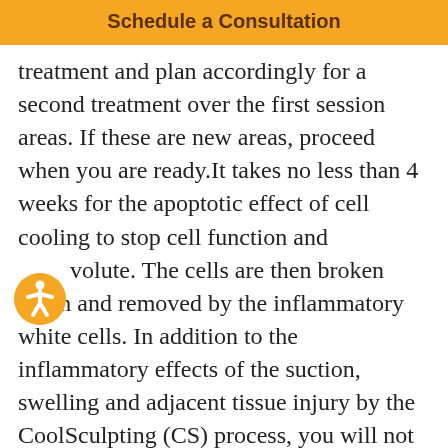Schedule a Consultation
treatment and plan accordingly for a second treatment over the first session areas. If these are new areas, proceed when you are ready.It takes no less than 4 weeks for the apoptotic effect of cell cooling to stop cell function and volute. The cells are then broken down and removed by the inflammatory white cells. In addition to the inflammatory effects of the suction, swelling and adjacent tissue injury by the CoolSculpting (CS) process, you will not begin to see the positive outcome of